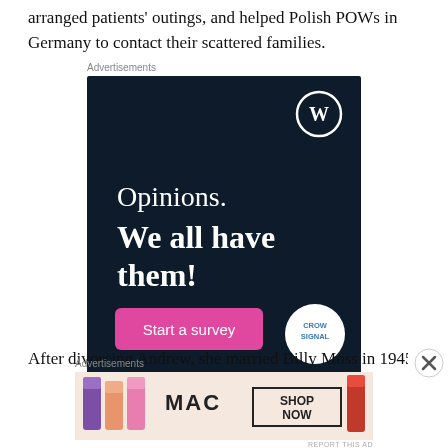arranged patients' outings, and helped Polish POWs in Germany to contact their scattered families.
[Figure (screenshot): Advertisement banner: dark navy background with WordPress logo top right. Text reads 'Opinions. We all have them!' with a pink 'Start a survey' button and Crowdsignal logo bottom right.]
After divorcing Andrew, she married Billy Moss in 1945. The
[Figure (screenshot): Advertisement banner: MAC cosmetics lipstick ad with colorful lipsticks on left and 'MAC' logo with 'SHOP NOW' button on right.]